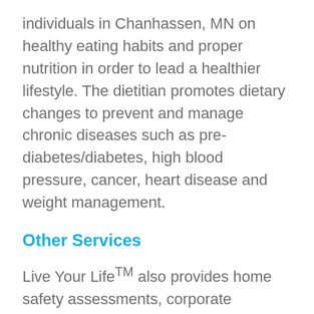individuals in Chanhassen, MN on healthy eating habits and proper nutrition in order to lead a healthier lifestyle. The dietitian promotes dietary changes to prevent and manage chronic diseases such as pre-diabetes/diabetes, high blood pressure, cancer, heart disease and weight management.
Other Services
Live Your Life™ also provides home safety assessments, corporate wellness and Medicare home care services in Chanhassen, MN. Whether you are recovering from a recent illness,